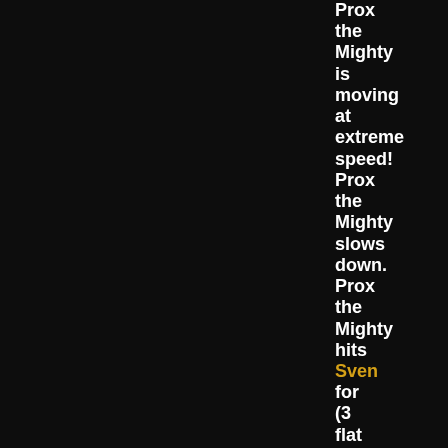Prox the Mighty is moving at extreme speed! Prox the Mighty slows down. Prox the Mighty hits Sven for (3 flat reduction),